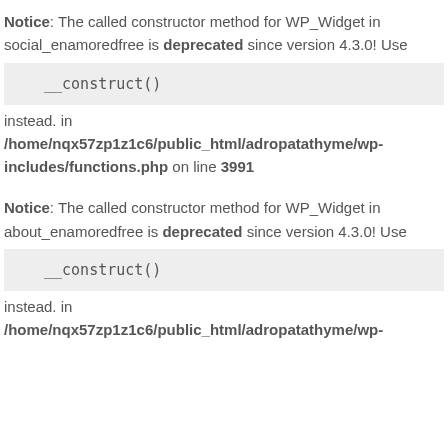Notice: The called constructor method for WP_Widget in social_enamoredfree is deprecated since version 4.3.0! Use __construct() instead. in /home/nqx57zp1z1c6/public_html/adropatathyme/wp-includes/functions.php on line 3991
Notice: The called constructor method for WP_Widget in about_enamoredfree is deprecated since version 4.3.0! Use __construct() instead. in /home/nqx57zp1z1c6/public_html/adropatathyme/wp-